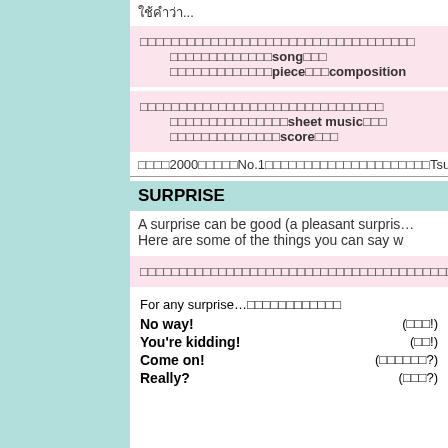ใช้คำว่า song หรือ piece หรือ composition
ใช้คำว่า sheet music หรือ score
ตั้งแต่ปี 2000 เป็น No.1 มาโดยตลอด รายชื่อนักดนตรีไทย Tsuna
SURPRISE
A surprise can be good (a pleasant surprise...
Here are some of the things you can say w
ประโยคที่ใช้แสดงความประหลาดใจที่เกิดขึ้น
For any surprise...ประโยคทั่วไป
No way! (ไม่จริง!)
You're kidding! (เหรอ!)
Come on! (เป็นไปได้ยังไง?)
Really? (จริงเหรอ?)